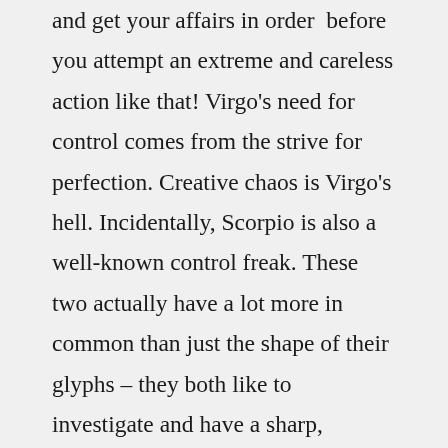and get your affairs in order  before you attempt an extreme and careless action like that! Virgo's need for control comes from the strive for perfection. Creative chaos is Virgo's hell. Incidentally, Scorpio is also a well-known control freak. These two actually have a lot more in common than just the shape of their glyphs – they both like to investigate and have a sharp, curious mind, love to analyse and be in control. But this control is happening on two different levels – Virgo is an Earth sign and sticks to mundane and material things, they want to know where things are (and that they are in perfect order) in the material world. Scorpio cares less if the books are arranged alphabetically and laundry is sorted by color and fabric type. Scorpio wants to know what everyone's thinking and feeling, since that